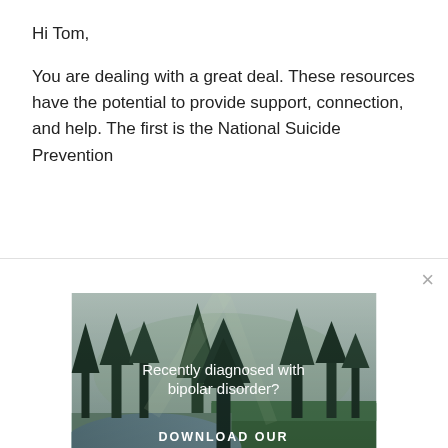Hi Tom,
You are dealing with a great deal. These resources have the potential to provide support, connection, and help. The first is the National Suicide Prevention
[Figure (photo): Advertisement banner showing a forest/nature scene with a river and pine trees. Overlaid text reads: 'Recently diagnosed with bipolar disorder? DOWNLOAD OUR FREE EBOOK NOW.' with an underline beneath the CTA.]
advertisement